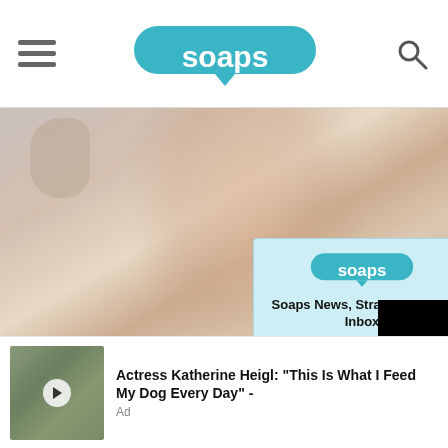soaps.com - navigation header with hamburger menu, soaps logo, and search icon
[Figure (photo): Background photo of a blonde woman covering her face with her hand, blurred/soft focus, used as article hero image]
Reverse Macular
Macular Degeneration
[Figure (screenshot): Light blue popup modal overlay: Soaps.com logo, heading 'Soaps News, Straight to Your Inbox', subtext 'Sign up for the Soaps daily newsletter today.', email input field, and subscribe button. Has an X close button.]
[Figure (screenshot): Black video player overlay showing 'Loading ad' text with a spinning loader circle, and media controls at the bottom (pause, fullscreen, mute buttons)]
[Figure (photo): Thumbnail image of Actress Katherine Heigl outdoors]
Actress Katherine Heigl: "This Is What I Feed My Dog Every Day" - Ad